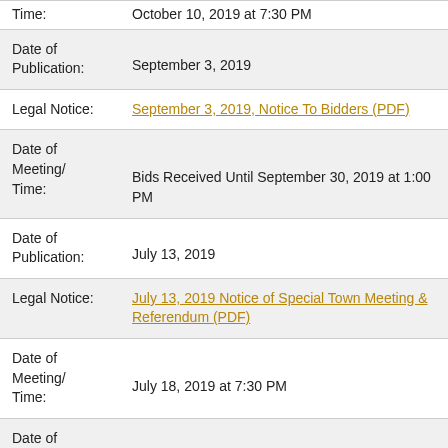Time: October 10, 2019 at 7:30 PM
Date of Publication: September 3, 2019
Legal Notice: September 3, 2019, Notice To Bidders (PDF)
Date of Meeting/ Time: Bids Received Until September 30, 2019 at 1:00 PM
Date of Publication: July 13, 2019
Legal Notice: July 13, 2019 Notice of Special Town Meeting & Referendum (PDF)
Date of Meeting/ Time: July 18, 2019 at 7:30 PM
Date of Publication: July 3, 2019